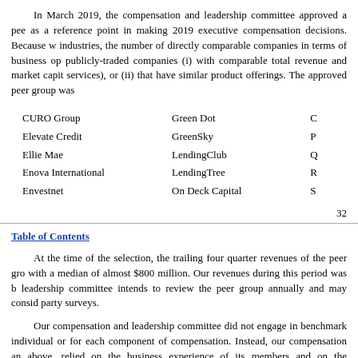In March 2019, the compensation and leadership committee approved a peer group to be used as a reference point in making 2019 executive compensation decisions. Because we operate across industries, the number of directly comparable companies in terms of business operations is limited to publicly-traded companies (i) with comparable total revenue and market capitalization (financial services), or (ii) that have similar product offerings. The approved peer group was
CURO Group
Elevate Credit
Ellie Mae
Enova International
Envestnet
Green Dot
GreenSky
LendingClub
LendingTree
On Deck Capital
C
P
Q
R
S
32
Table of Contents
At the time of the selection, the trailing four quarter revenues of the peer group ranged with a median of almost $800 million. Our revenues during this period was b leadership committee intends to review the peer group annually and may consid party surveys.
Our compensation and leadership committee did not engage in benchmarking individual or for each component of compensation. Instead, our compensation and above, relied on the business experience of its members and on the recommendat appropriate for our executive officers.